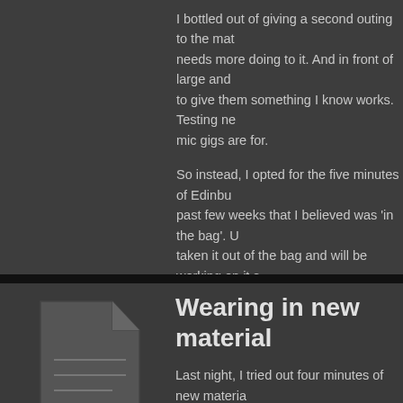I bottled out of giving a second outing to the mat needs more doing to it. And in front of large and to give them something I know works. Testing ne mic gigs are for.
So instead, I opted for the five minutes of Edinbu past few weeks that I believed was 'in the bag'. taken it out of the bag and will be working on it s
April 7, 2012   No Comments
Wearing in new material
Last night, I tried out four minutes of new materia of my Edinburgh set.
It is the story of how unrequited love led to me d my ankle in a ridiculous set of circumstances, wh proceedings.